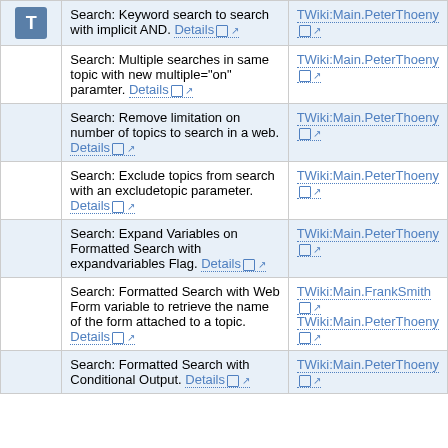|  | Description | Author |
| --- | --- | --- |
| T | Search: Keyword search to search with implicit AND. Details | TWiki:Main.PeterThoeny |
|  | Search: Multiple searches in same topic with new multiple="on" paramter. Details | TWiki:Main.PeterThoeny |
|  | Search: Remove limitation on number of topics to search in a web. Details | TWiki:Main.PeterThoeny |
|  | Search: Exclude topics from search with an excludetopic parameter. Details | TWiki:Main.PeterThoeny |
|  | Search: Expand Variables on Formatted Search with expandvariables Flag. Details | TWiki:Main.PeterThoeny |
|  | Search: Formatted Search with Web Form variable to retrieve the name of the form attached to a topic. Details | TWiki:Main.FrankSmith
TWiki:Main.PeterThoeny |
|  | Search: Formatted Search with Conditional Output. Details | TWiki:Main.PeterThoeny |